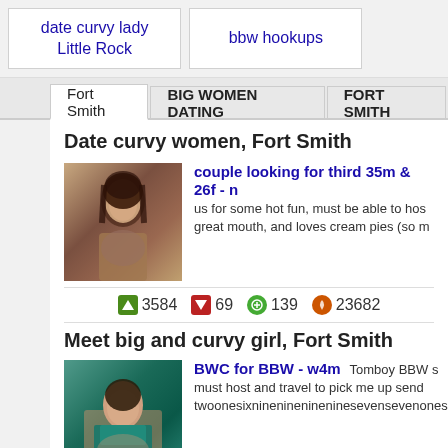date curvy lady Little Rock
bbw hookups
Fort Smith | BIG WOMEN DATING | FORT SMITH
Date curvy women, Fort Smith
[Figure (photo): Photo of a woman with dark hair]
couple looking for third 35m & 26f - n... us for some hot fun, must be able to host, great mouth, and loves cream pies (so m...
3584  69  139  23682
Meet big and curvy girl, Fort Smith
[Figure (photo): Photo of a woman in teal clothing]
BWC for BBW - w4m  Tomboy BBW s... must host and travel to pick me up send twoonesixnineninenineninesevensevenonese...